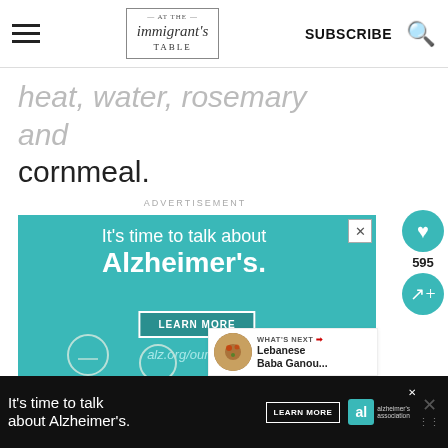At The Immigrant's Table — SUBSCRIBE
heat, water, rosemary and cornmeal.
ADVERTISEMENT
[Figure (illustration): Alzheimer's Association advertisement. Teal background with white text reading "It's time to talk about Alzheimer's." with a LEARN MORE button and alz.org/ourstories URL. Illustration of two elderly people.]
[Figure (illustration): What's Next panel showing Lebanese Baba Ganou... with a thumbnail image of the dish.]
[Figure (illustration): Bottom black bar advertisement for Alzheimer's Association with LEARN MORE button and logo.]